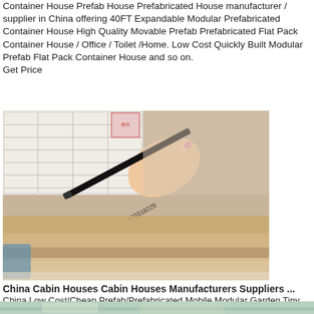Container House Prefab House Prefabricated House manufacturer / supplier in China offering 40FT Expandable Modular Prefabricated Container House High Quality Movable Prefab Prefabricated Flat Pack Container House / Office / Toilet /Home. Low Cost Quickly Built Modular Prefab Flat Pack Container House and so on.
Get Price
[Figure (photo): Close-up photo of a hand pointing at a document/table with a black pen and wooden boards beneath]
China Cabin Houses Cabin Houses Manufacturers Suppliers ...
China Low Cost/Cheap Prefab/Prefabricated Mobile Modular Garden Tiny Movable Portable Steel Folding/Foldable Expandable Container Cabin Dorm Home House for Sale FOB Price: US $ 6800-9760 / Piece Min. Order: 1 Piece
Get Price
[Figure (photo): Partial photo visible at the bottom of the page showing construction materials or a prefab structure]